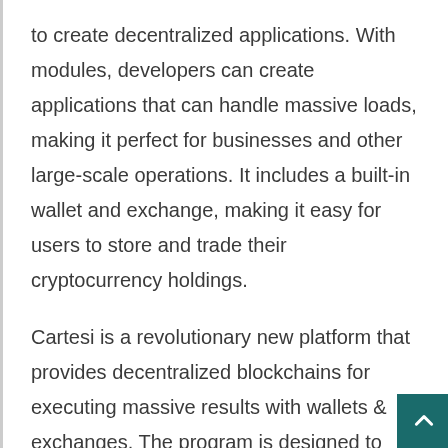to create decentralized applications. With modules, developers can create applications that can handle massive loads, making it perfect for businesses and other large-scale operations. It includes a built-in wallet and exchange, making it easy for users to store and trade their cryptocurrency holdings.
Cartesi is a revolutionary new platform that provides decentralized blockchains for executing massive results with wallets & exchanges. The program is designed to provide the most efficient and secure experience for all